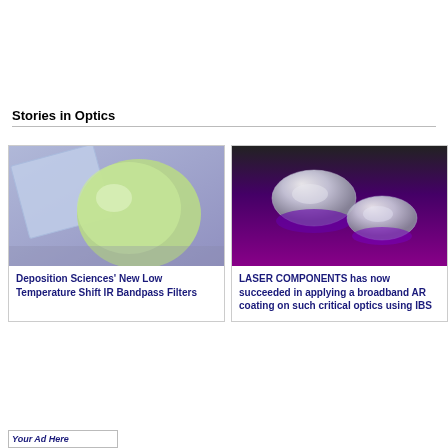Stories in Optics
[Figure (photo): Optical filter components: a square blue-tinted flat optic and a round green lens on a purple/blue gradient background]
Deposition Sciences' New Low Temperature Shift IR Bandpass Filters
[Figure (photo): Two plano-convex glass lenses sitting on a purple background, showing reflections and coatings]
LASER COMPONENTS has now succeeded in applying a broadband AR coating on such critical optics using IBS
Your Ad Here